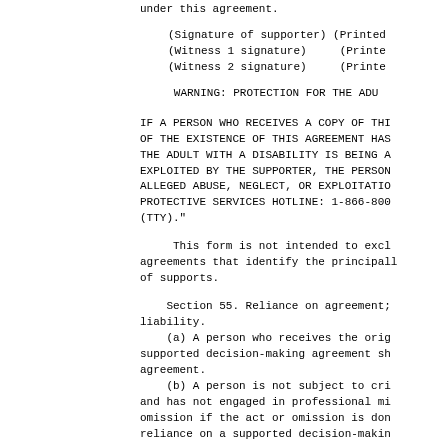under this agreement.
(Signature of supporter)  (Printed
(Witness 1 signature)      (Printe
(Witness 2 signature)      (Printe
WARNING: PROTECTION FOR THE ADU
IF A PERSON WHO RECEIVES A COPY OF THI
OF THE EXISTENCE OF THIS AGREEMENT HAS
THE ADULT WITH A DISABILITY IS BEING A
EXPLOITED BY THE SUPPORTER, THE PERSON
ALLEGED ABUSE, NEGLECT, OR EXPLOITATIO
PROTECTIVE SERVICES HOTLINE: 1-866-800
(TTY)."
This form is not intended to excl
agreements that identify the principall
of supports.
Section 55. Reliance on agreement;
liability.
(a) A person who receives the orig
supported decision-making agreement sh
agreement.
(b) A person is not subject to cri
and has not engaged in professional mi
omission if the act or omission is don
reliance on a supported decision-makin